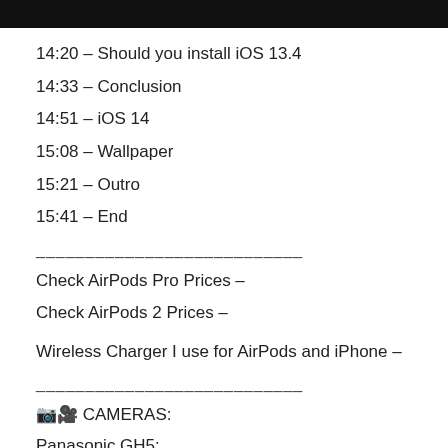14:20 – Should you install iOS 13.4
14:33 – Conclusion
14:51 – iOS 14
15:08 – Wallpaper
15:21 – Outro
15:41 – End
___________________________
Check AirPods Pro Prices –
Check AirPods 2 Prices –
Wireless Charger I use for AirPods and iPhone –
___________________________
📷🎥 CAMERAS:
Panasonic GH5:
Leica Lens:
Memory Card: